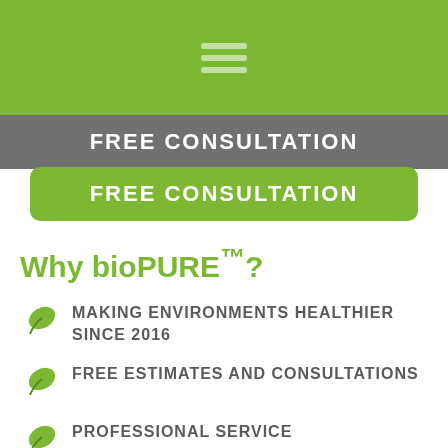[Figure (logo): Green banner with hamburger menu icon]
FREE CONSULTATION
FREE CONSULTATION
Why bioPURE™?
MAKING ENVIRONMENTS HEALTHIER SINCE 2016
FREE ESTIMATES AND CONSULTATIONS
PROFESSIONAL SERVICE